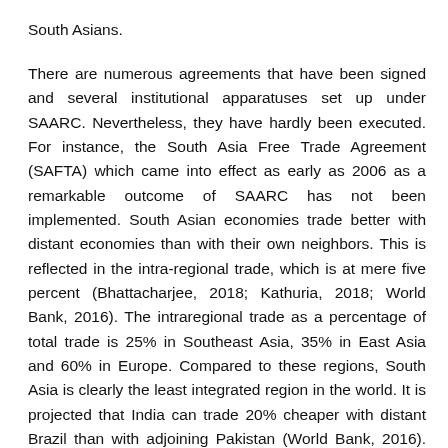South Asians.
There are numerous agreements that have been signed and several institutional apparatuses set up under SAARC. Nevertheless, they have hardly been executed. For instance, the South Asia Free Trade Agreement (SAFTA) which came into effect as early as 2006 as a remarkable outcome of SAARC has not been implemented. South Asian economies trade better with distant economies than with their own neighbors. This is reflected in the intra-regional trade, which is at mere five percent (Bhattacharjee, 2018; Kathuria, 2018; World Bank, 2016). The intraregional trade as a percentage of total trade is 25% in Southeast Asia, 35% in East Asia and 60% in Europe. Compared to these regions, South Asia is clearly the least integrated region in the world. It is projected that India can trade 20% cheaper with distant Brazil than with adjoining Pakistan (World Bank, 2016). The significant barriers to their trade relations are decades-old mistrust and animosity between them. Additionally, prevailing tariff and non-tariff barriers like, sensitive lists, inadequate trade agreements, strict visa regimes, [cut off] procedures, circuitous route to markets, connected [cut off]